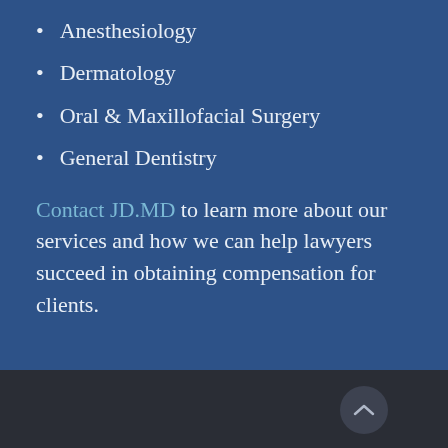Anesthesiology
Dermatology
Oral & Maxillofacial Surgery
General Dentistry
Contact JD.MD to learn more about our services and how we can help lawyers succeed in obtaining compensation for clients.